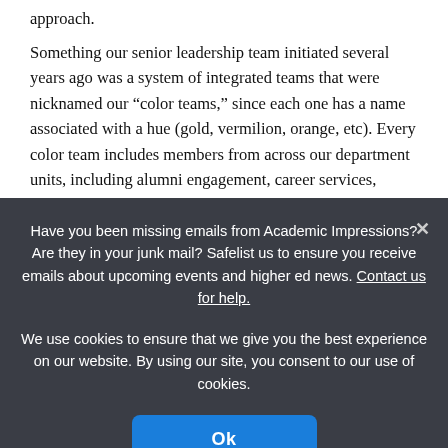approach.
Something our senior leadership team initiated several years ago was a system of integrated teams that were nicknamed our “color teams,” since each one has a name associated with a hue (gold, vermilion, orange, etc). Every color team includes members from across our department units, including alumni engagement, career services, annual giving, international initiatives, parent and family, and operations.
Have you been missing emails from Academic Impressions? Are they in your junk mail? Safelist us to ensure you receive emails about upcoming events and higher ed news. Contact us for help.
We use cookies to ensure that we give you the best experience on our website. By using our site, you consent to our use of cookies.
Ok